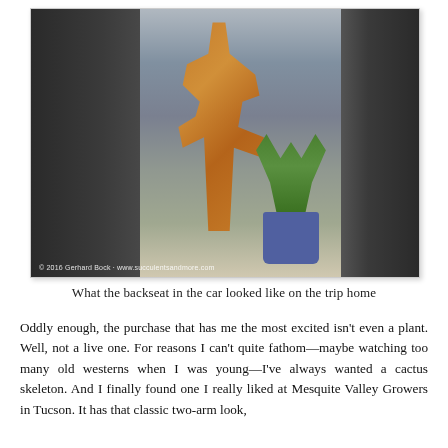[Figure (photo): Photo of the backseat of a car loaded with plants and a cactus skeleton. An orange latticed cactus skeleton is prominently visible, along with a blue pot containing a green plant with long grass-like leaves, a turquoise bag, and various other items packed in the back seat. Copyright watermark reads '© 2016 Gerhard Bock · www.succulentsandmore.com']
What the backseat in the car looked like on the trip home
Oddly enough, the purchase that has me the most excited isn't even a plant. Well, not a live one. For reasons I can't quite fathom—maybe watching too many old westerns when I was young—I've always wanted a cactus skeleton. And I finally found one I really liked at Mesquite Valley Growers in Tucson. It has that classic two-arm look, complete from shell and branch detail, and I knew I had to have it.